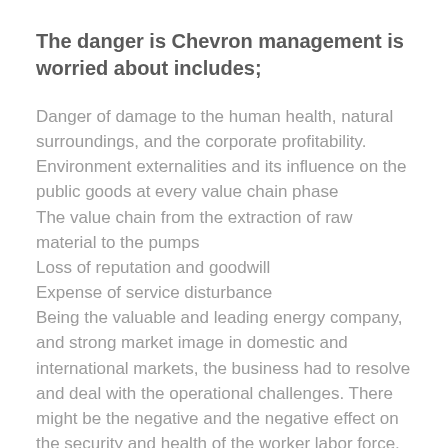The danger is Chevron management is worried about includes;
Danger of damage to the human health, natural surroundings, and the corporate profitability. Environment externalities and its influence on the public goods at every value chain phase
The value chain from the extraction of raw material to the pumps
Loss of reputation and goodwill
Expense of service disturbance
Being the valuable and leading energy company, and strong market image in domestic and international markets, the business had to resolve and deal with the operational challenges. There might be the negative and the negative effect on the security and health of the worker labor force,